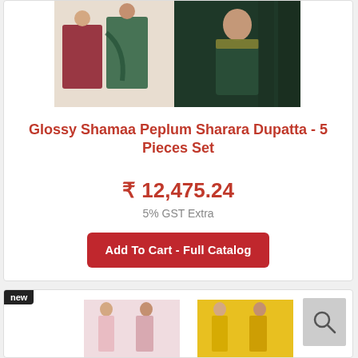[Figure (photo): Product images showing two women modeling ethnic Indian wear — a maroon/green sharara set and a dark green embroidered outfit]
Glossy Shamaa Peplum Sharara Dupatta - 5 Pieces Set
₹ 12,475.24
5% GST Extra
Add To Cart - Full Catalog
[Figure (photo): Product images of light pink and yellow ethnic Indian outfits modeled by women, with a search icon overlay]
new